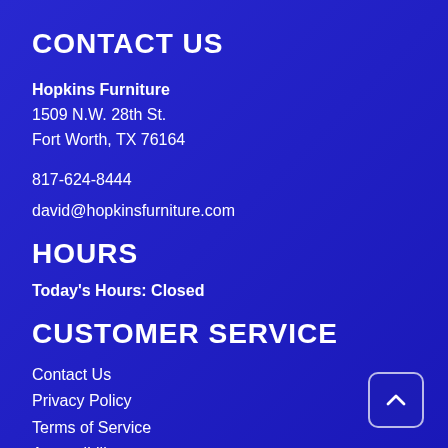CONTACT US
Hopkins Furniture
1509 N.W. 28th St.
Fort Worth, TX 76164
817-624-8444
david@hopkinsfurniture.com
HOURS
Today's Hours: Closed
CUSTOMER SERVICE
Contact Us
Privacy Policy
Terms of Service
Accessibility
Site Map
Do Not Sell My Personal Information